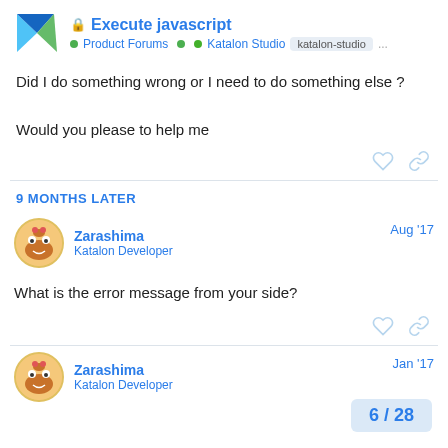Execute javascript — Product Forums • Katalon Studio katalon-studio ...
Did I do something wrong or I need to do something else ?
Would you please to help me
9 MONTHS LATER
Zarashima
Katalon Developer
Aug '17
What is the error message from your side?
Zarashima
Katalon Developer
Jan '17
6 / 28